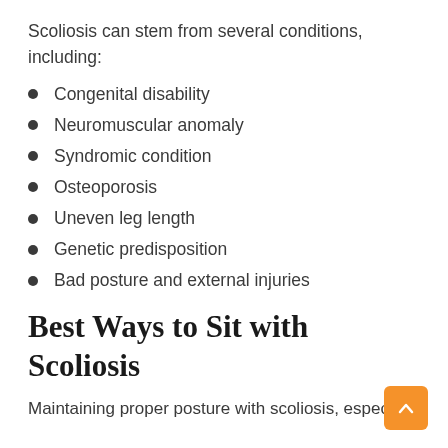Scoliosis can stem from several conditions, including:
Congenital disability
Neuromuscular anomaly
Syndromic condition
Osteoporosis
Uneven leg length
Genetic predisposition
Bad posture and external injuries
Best Ways to Sit with Scoliosis
Maintaining proper posture with scoliosis, especially